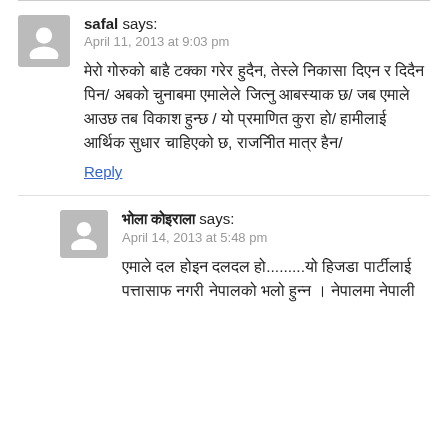safal says:
April 11, 2013 at 9:03 pm
मेरो गोरुको बाहै टक्का गरेर हुदैन, तेस्ले निकासा दिएन र दिदैन पिन/ अबको चुनाबमा एमालेले जित्नु आबस्याक छ/ जब एमाले आउछ तब विकाश हुन्छ / यो प्रमाणित कुरा हो/ हामीलाई आर्थिक सुधार चाहिएको छ, राजनीित मात्र हैन/
Reply
भोला कोइराला says:
April 14, 2013 at 5:48 pm
एमाले दल होइन दलदल हो.........यो हिजडा पार्टीलाई पत्तासाफ नगरी नेपालको भलो हुन्न । नेपालमा नेपाली